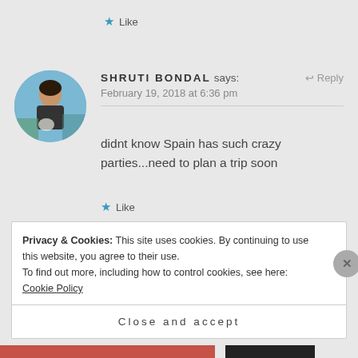★ Like
SHRUTI BONDAL says:
February 19, 2018 at 6:36 pm
didnt know Spain has such crazy parties...need to plan a trip soon
★ Like
Privacy & Cookies: This site uses cookies. By continuing to use this website, you agree to their use.
To find out more, including how to control cookies, see here: Cookie Policy
Close and accept